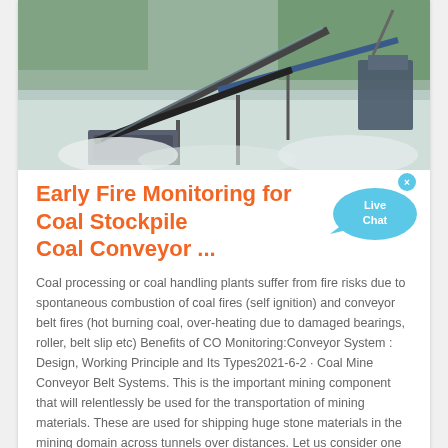[Figure (photo): Industrial coal conveyor belt equipment with machinery and green trees in background, dusty environment]
Early Fire Monitoring for Coal Stockpile Coal Conveyor ...
Coal processing or coal handling plants suffer from fire risks due to spontaneous combustion of coal fires (self ignition) and conveyor belt fires (hot burning coal, over-heating due to damaged bearings, roller, belt slip etc) Benefits of CO Monitoring:Conveyor System : Design, Working Principle and Its Types2021-6-2 · Coal Mine Conveyor Belt Systems. This is the important mining component that will relentlessly be used for the transportation of mining materials. These are used for shipping huge stone materials in the mining domain across tunnels over distances. Let us consider one type of coal mine conveyor system which is elevating type.